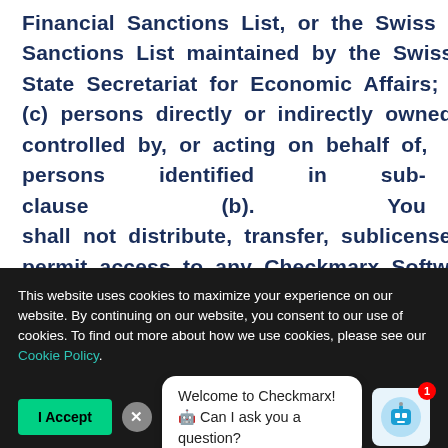Financial Sanctions List, or the Swiss Sanctions List maintained by the Swiss State Secretariat for Economic Affairs; or (c) persons directly or indirectly owned or controlled by, or acting on behalf of, persons identified in sub-clause (b). You shall not distribute, transfer, sublicense or permit access to any Checkmarx Software, Documentation, or services to any
This website uses cookies to maximize your experience on our website. By continuing on our website, you consent to our use of cookies. To find out more about how we use cookies, please see our Cookie Policy.
Welcome to Checkmarx! 🤖 Can I ask you a question?